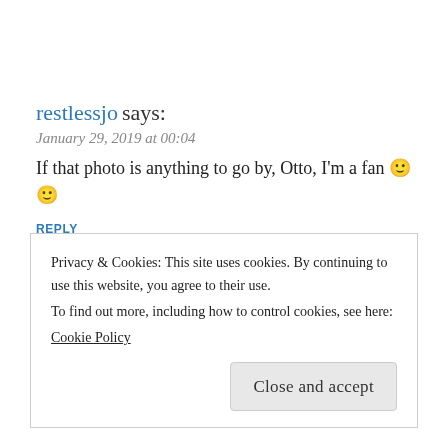restlessjo says:
January 29, 2019 at 00:04
If that photo is anything to go by, Otto, I'm a fan 🙂 🙂
REPLY
Otto von Münchow says:
January 29, 2019 at 19:21
Privacy & Cookies: This site uses cookies. By continuing to use this website, you agree to their use.
To find out more, including how to control cookies, see here:
Cookie Policy
Close and accept